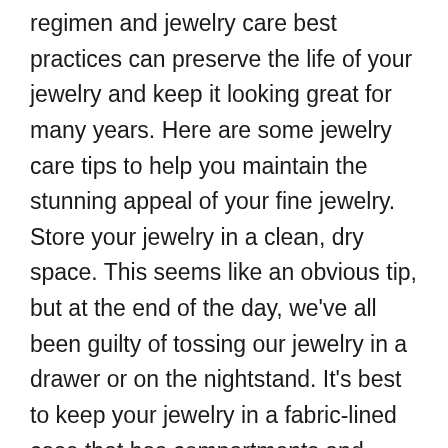regimen and jewelry care best practices can preserve the life of your jewelry and keep it looking great for many years. Here are some jewelry care tips to help you maintain the stunning appeal of your fine jewelry. Store your jewelry in a clean, dry space. This seems like an obvious tip, but at the end of the day, we've all been guilty of tossing our jewelry in a drawer or on the nightstand. It's best to keep your jewelry in a fabric-lined case that has compartments and dividers for your jewelry. If you don't have a jewelry case, make sure to wrap each piece of jewelry in a soft tissue or paper before placing it in a drawer. This will prevent scratching and tangling. Hairspray, lotion, and perfume can be damaging to certain types of metals and colored gems. Precious metals like gold, silver, and platinum are especially susceptible to